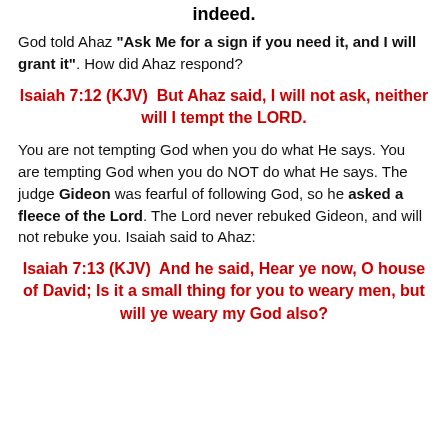indeed.
God told Ahaz "Ask Me for a sign if you need it, and I will grant it". How did Ahaz respond?
Isaiah 7:12 (KJV)  But Ahaz said, I will not ask, neither will I tempt the LORD.
You are not tempting God when you do what He says. You are tempting God when you do NOT do what He says. The judge Gideon was fearful of following God, so he asked a fleece of the Lord. The Lord never rebuked Gideon, and will not rebuke you. Isaiah said to Ahaz:
Isaiah 7:13 (KJV)  And he said, Hear ye now, O house of David; Is it a small thing for you to weary men, but will ye weary my God also?